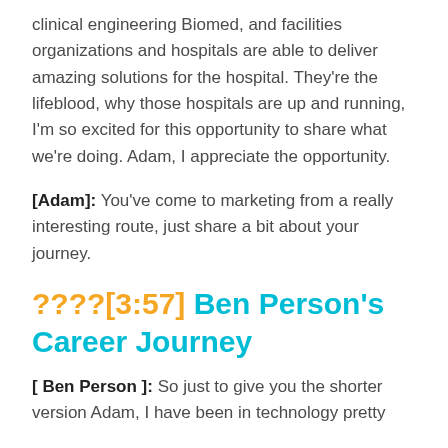clinical engineering Biomed, and facilities organizations and hospitals are able to deliver amazing solutions for the hospital. They're the lifeblood, why those hospitals are up and running, I'm so excited for this opportunity to share what we're doing. Adam, I appreciate the opportunity.
[Adam]: You've come to marketing from a really interesting route, just share a bit about your journey.
????[3:57] Ben Person's Career Journey
[ Ben Person ]: So just to give you the shorter version Adam, I have been in technology pretty